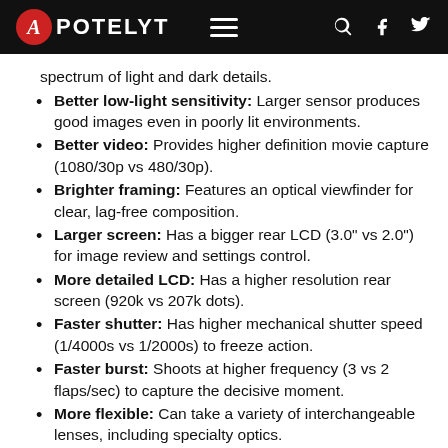APOTELYT
spectrum of light and dark details.
Better low-light sensitivity: Larger sensor produces good images even in poorly lit environments.
Better video: Provides higher definition movie capture (1080/30p vs 480/30p).
Brighter framing: Features an optical viewfinder for clear, lag-free composition.
Larger screen: Has a bigger rear LCD (3.0" vs 2.0") for image review and settings control.
More detailed LCD: Has a higher resolution rear screen (920k vs 207k dots).
Faster shutter: Has higher mechanical shutter speed (1/4000s vs 1/2000s) to freeze action.
Faster burst: Shoots at higher frequency (3 vs 2 flaps/sec) to capture the decisive moment.
More flexible: Can take a variety of interchangeable lenses, including specialty optics.
Longer lasting: Can take more shots (500 versus 360) on a single battery charge.